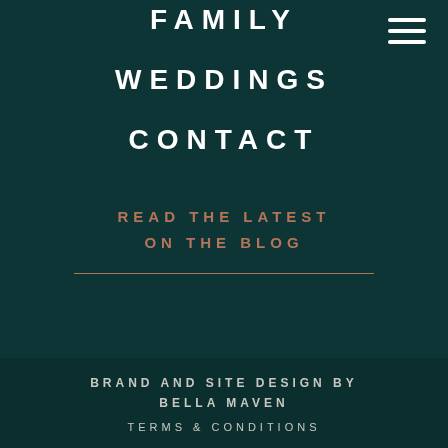FAMILY
WEDDINGS
CONTACT
READ THE LATEST
ON THE BLOG
BRAND AND SITE DESIGN BY BELLA MAVEN
TERMS & CONDITIONS